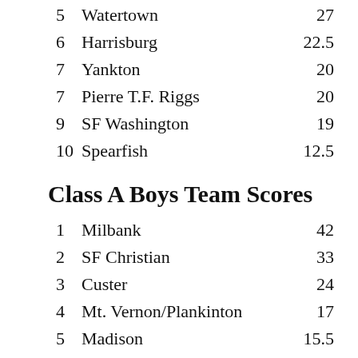5 Watertown 27
6 Harrisburg 22.5
7 Yankton 20
7 Pierre T.F. Riggs 20
9 SF Washington 19
10 Spearfish 12.5
Class A Boys Team Scores
1 Milbank 42
2 SF Christian 33
3 Custer 24
4 Mt. Vernon/Plankinton 17
5 Madison 15.5
6 Webster Area 15
7 Lennox 14